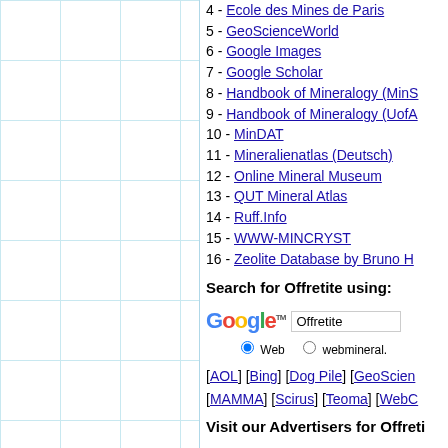4 - Ecole des Mines de Paris
5 - GeoScienceWorld
6 - Google Images
7 - Google Scholar
8 - Handbook of Mineralogy (MinS...
9 - Handbook of Mineralogy (UofA...
10 - MinDAT
11 - Mineralienatlas (Deutsch)
12 - Online Mineral Museum
13 - QUT Mineral Atlas
14 - Ruff.Info
15 - WWW-MINCRYST
16 - Zeolite Database by Bruno H...
Search for Offretite using:
[Figure (other): Google search box with Offretite query and Web/webmineral radio buttons]
[AOL] [Bing] [Dog Pile] [GeoScience...] [MAMMA] [Scirus] [Teoma] [WebC...]
Visit our Advertisers for Offreti...